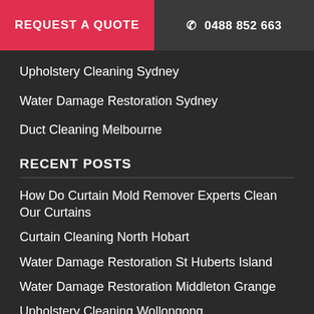REQUEST A QUOTE | 0488 852 663
Upholstery Cleaning Sydney
Water Damage Restoration Sydney
Duct Cleaning Melbourne
RECENT POSTS
How Do Curtain Mold Remover Experts Clean Our Curtains
Curtain Cleaning North Hobart
Water Damage Restoration St Huberts Island
Water Damage Restoration Middleton Grange
Upholstery Cleaning Wollongong